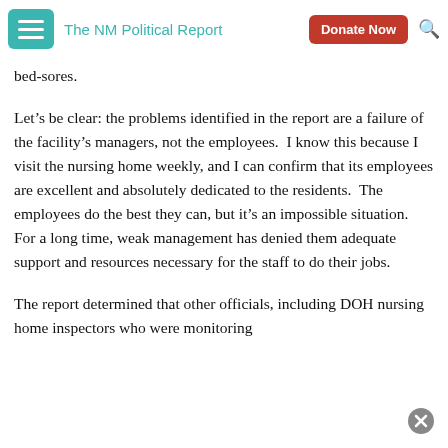The NM Political Report | Donate Now
bed-sores.
Let's be clear: the problems identified in the report are a failure of the facility's managers, not the employees.  I know this because I visit the nursing home weekly, and I can confirm that its employees are excellent and absolutely dedicated to the residents.  The employees do the best they can, but it's an impossible situation.  For a long time, weak management has denied them adequate support and resources necessary for the staff to do their jobs.
The report determined that other officials, including DOH nursing home inspectors who were monitoring